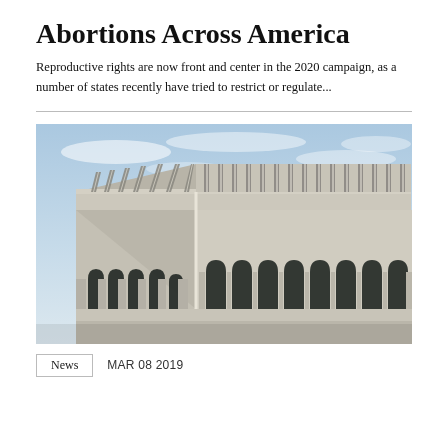Abortions Across America
Reproductive rights are now front and center in the 2020 campaign, as a number of states recently have tried to restrict or regulate...
[Figure (photo): Exterior corner view of a modernist government building with tall vertical concrete fins/columns along the upper facade and arched openings at ground level, photographed against a partly cloudy sky.]
News   MAR 08 2019